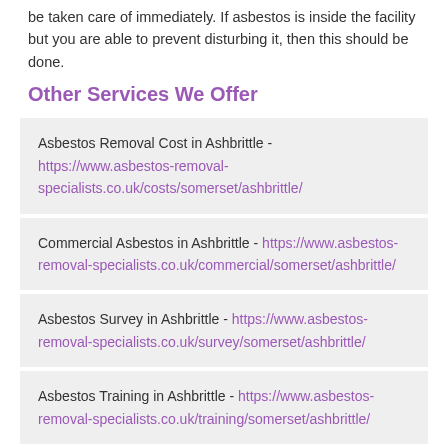be taken care of immediately. If asbestos is inside the facility but you are able to prevent disturbing it, then this should be done.
Other Services We Offer
Asbestos Removal Cost in Ashbrittle - https://www.asbestos-removal-specialists.co.uk/costs/somerset/ashbrittle/
Commercial Asbestos in Ashbrittle - https://www.asbestos-removal-specialists.co.uk/commercial/somerset/ashbrittle/
Asbestos Survey in Ashbrittle - https://www.asbestos-removal-specialists.co.uk/survey/somerset/ashbrittle/
Asbestos Training in Ashbrittle - https://www.asbestos-removal-specialists.co.uk/training/somerset/ashbrittle/
Contact Us
If you'd like to find out more information regarding the Asbestos